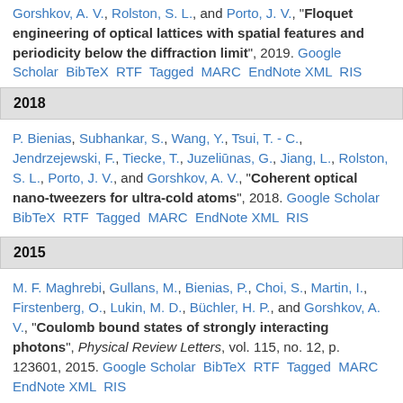Gorshkov, A. V., Rolston, S. L., and Porto, J. V., "Floquet engineering of optical lattices with spatial features and periodicity below the diffraction limit", 2019. Google Scholar BibTeX RTF Tagged MARC EndNote XML RIS
2018
P. Bienias, Subhankar, S., Wang, Y., Tsui, T. - C., Jendrzejewski, F., Tiecke, T., Juzeliūnas, G., Jiang, L., Rolston, S. L., Porto, J. V., and Gorshkov, A. V., "Coherent optical nano-tweezers for ultra-cold atoms", 2018. Google Scholar BibTeX RTF Tagged MARC EndNote XML RIS
2015
M. F. Maghrebi, Gullans, M., Bienias, P., Choi, S., Martin, I., Firstenberg, O., Lukin, M. D., Büchler, H. P., and Gorshkov, A. V., "Coulomb bound states of strongly interacting photons", Physical Review Letters, vol. 115, no. 12, p. 123601, 2015. Google Scholar BibTeX RTF Tagged MARC EndNote XML RIS
2014